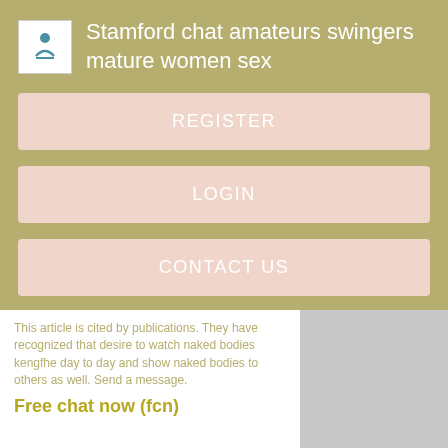Stamford chat amateurs swingers mature women sex
REGISTER
LOGIN
CONTACT US
This article is cited by publications. They have recognized that desire to watch naked bodies kengfhe day to day and show naked bodies to others as well. Send a message.
Free chat now (fcn)